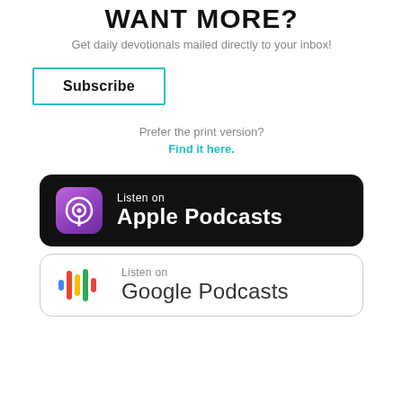WANT MORE?
Get daily devotionals mailed directly to your inbox!
Subscribe
Prefer the print version? Find it here.
[Figure (logo): Listen on Apple Podcasts badge - black rounded rectangle with purple podcast icon and white text]
[Figure (logo): Listen on Google Podcasts badge - white rounded rectangle with Google Podcasts colorful bars icon and gray text]